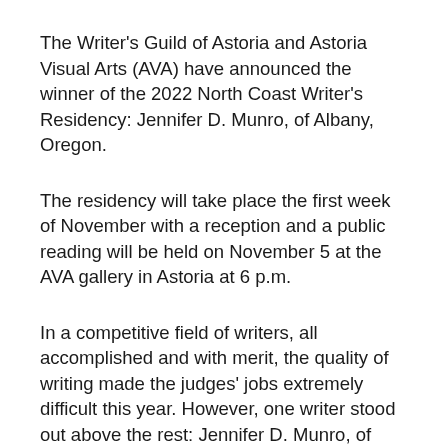The Writer's Guild of Astoria and Astoria Visual Arts (AVA) have announced the winner of the 2022 North Coast Writer's Residency: Jennifer D. Munro, of Albany, Oregon.
The residency will take place the first week of November with a reception and a public reading will be held on November 5 at the AVA gallery in Astoria at 6 p.m.
In a competitive field of writers, all accomplished and with merit, the quality of writing made the judges' jobs extremely difficult this year. However, one writer stood out above the rest: Jennifer D. Munro, of Albany, Oregon.
As the selected writer-in-residence, Jennifer will spend one week working on her book-length collection of essays, The Twelfth Mom. This project explores the